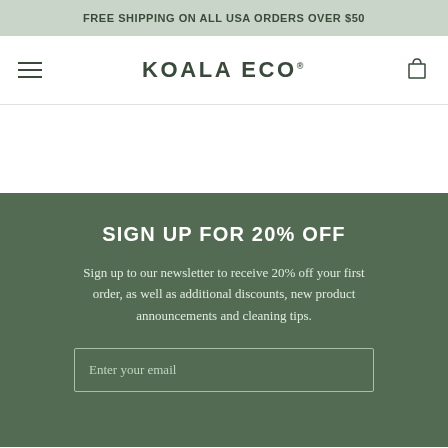FREE SHIPPING ON ALL USA ORDERS OVER $50
KOALA ECO
SIGN UP FOR 20% OFF
Sign up to our newsletter to receive 20% off your first order, as well as additional discounts, new product announcements and cleaning tips.
Enter your email